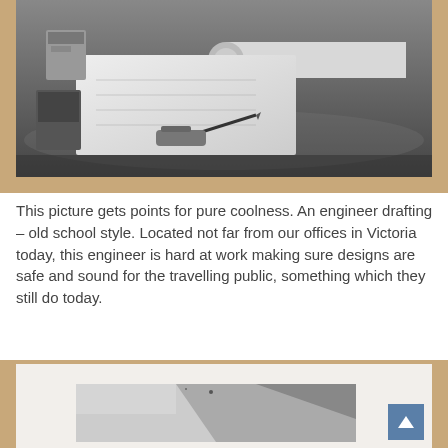[Figure (photo): Black and white photograph of an engineer's drafting desk with rolled blueprints, tools, and drafting instruments, displayed on a wooden frame background.]
This picture gets points for pure coolness. An engineer drafting – old school style. Located not far from our offices in Victoria today, this engineer is hard at work making sure designs are safe and sound for the travelling public, something which they still do today.
[Figure (photo): Partially visible photograph on a wooden surface showing what appears to be an aerial or landscape view in black and white.]